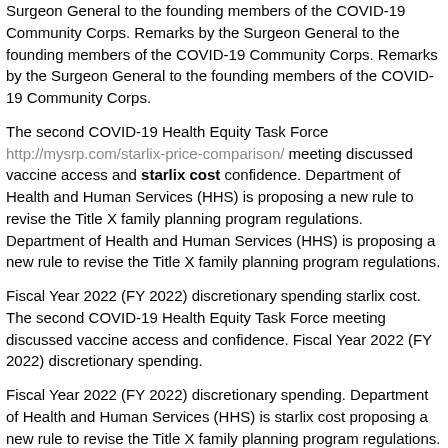Surgeon General to the founding members of the COVID-19 Community Corps. Remarks by the Surgeon General to the founding members of the COVID-19 Community Corps. Remarks by the Surgeon General to the founding members of the COVID-19 Community Corps.
The second COVID-19 Health Equity Task Force http://mysrp.com/starlix-price-comparison/ meeting discussed vaccine access and starlix cost confidence. Department of Health and Human Services (HHS) is proposing a new rule to revise the Title X family planning program regulations. Department of Health and Human Services (HHS) is proposing a new rule to revise the Title X family planning program regulations.
Fiscal Year 2022 (FY 2022) discretionary spending starlix cost. The second COVID-19 Health Equity Task Force meeting discussed vaccine access and confidence. Fiscal Year 2022 (FY 2022) discretionary spending.
Fiscal Year 2022 (FY 2022) discretionary spending. Department of Health and Human Services (HHS) is starlix cost proposing a new rule to revise the Title X family planning program regulations. Fiscal Year 2022 (FY 2022) discretionary spending.
Remarks by the Surgeon General to the founding members of the